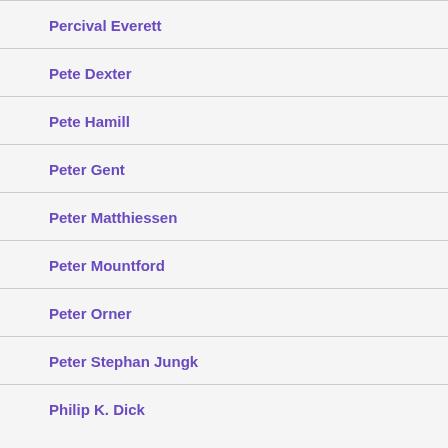Percival Everett
Pete Dexter
Pete Hamill
Peter Gent
Peter Matthiessen
Peter Mountford
Peter Orner
Peter Stephan Jungk
Philip K. Dick